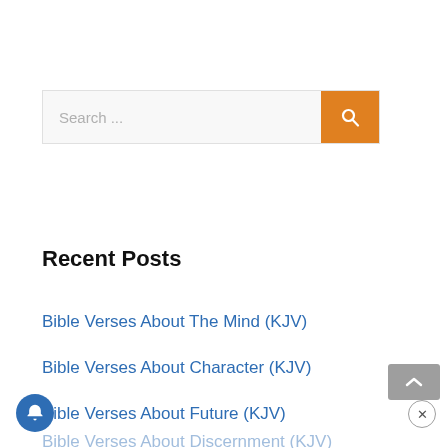[Figure (screenshot): Search bar with text placeholder 'Search ...' and orange search button with magnifying glass icon]
Recent Posts
Bible Verses About The Mind (KJV)
Bible Verses About Character (KJV)
Bible Verses About Future (KJV)
Bible Verses About Discernment (KJV)